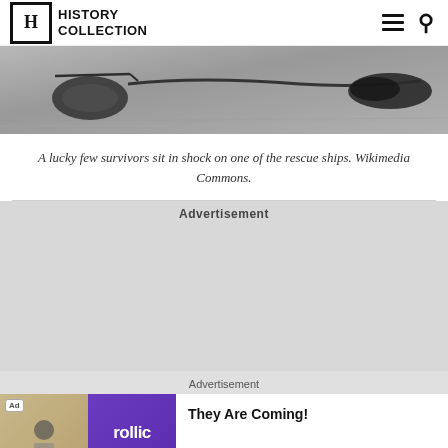HISTORY COLLECTION
[Figure (photo): Black and white photograph showing rope/wire objects on a surface, taken from above. Partial view of rescue ship scene.]
A lucky few survivors sit in shock on one of the rescue ships. Wikimedia Commons.
Advertisement
Advertisement
[Figure (other): Advertisement banner for Rollic game 'They Are Coming!' with Download button]